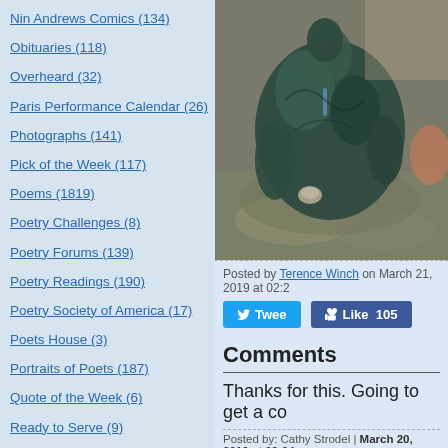Nin Andrews Comics (134)
Obituaries (118)
Overheard (32)
Paris Performance Calendar (26)
Photographs (141)
Pick of the Week (117)
Poems (1819)
Poetry Challenges (8)
Poetry Forums (139)
Poetry Readings (190)
Poetry Society of America (17)
Poets House (3)
Portraits of Poets (187)
Quote of the Week (6)
Ready to Serve (9)
Religion (93)
Science (27)
Scotland (13)
[Figure (photo): Bronze sculpture of a crouching or reclining figure, viewed from above, on rocky ground]
Posted by Terence Winch on March 21, 2019 at 02:2
Tweet   Like 105
Comments
Thanks for this. Going to get a co
Posted by: Cathy Strodel | March 20, 2019 at 03:24